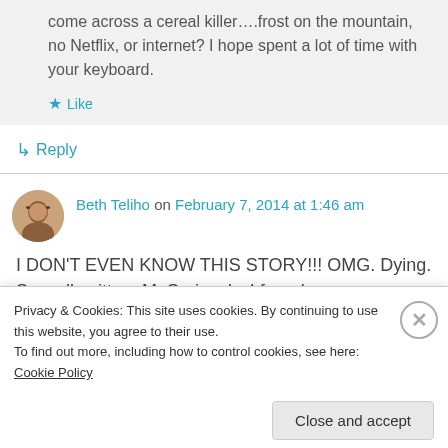come across a cereal killer….frost on the mountain, no Netflix, or internet? I hope spent a lot of time with your keyboard.
★ Like
↳ Reply
Beth Teliho on February 7, 2014 at 1:46 am
I DON'T EVEN KNOW THIS STORY!!! OMG. Dying. So well written, M. Seriously. I found
Privacy & Cookies: This site uses cookies. By continuing to use this website, you agree to their use.
To find out more, including how to control cookies, see here: Cookie Policy
Close and accept